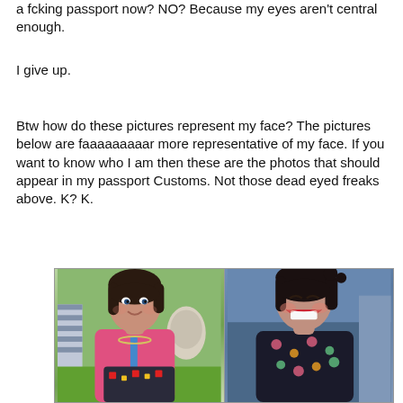a fcking passport now? NO? Because my eyes aren't central enough.
I give up.
Btw how do these pictures represent my face? The pictures below are faaaaaaaaar more representative of my face. If you want to know who I am then these are the photos that should appear in my passport Customs. Not those dead eyed freaks above. K? K.
[Figure (photo): Two side-by-side photos of a young woman. Left photo shows her smiling outdoors wearing a pink top and lanyard. Right photo shows her laughing in a car wearing a floral top with red lipstick.]